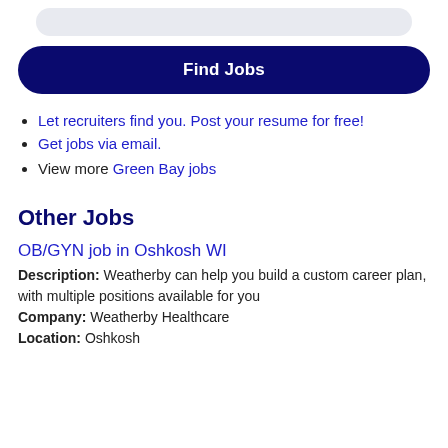[Figure (other): Partial search bar stub at top of page]
Find Jobs
Let recruiters find you. Post your resume for free!
Get jobs via email.
View more Green Bay jobs
Other Jobs
OB/GYN job in Oshkosh WI
Description: Weatherby can help you build a custom career plan, with multiple positions available for you
Company: Weatherby Healthcare
Location: Oshkosh